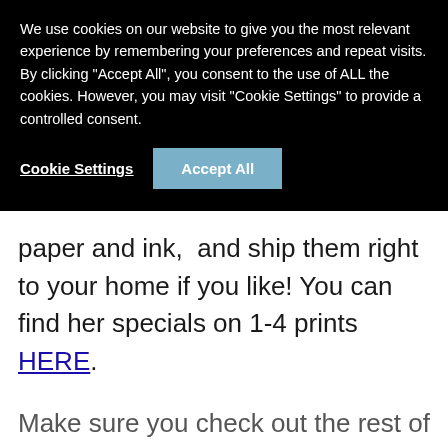We use cookies on our website to give you the most relevant experience by remembering your preferences and repeat visits. By clicking "Accept All", you consent to the use of ALL the cookies. However, you may visit "Cookie Settings" to provide a controlled consent.
Cookie Settings | Accept All
paper and ink,  and ship them right to your home if you like! You can find her specials on 1-4 prints HERE.
Make sure you check out the rest of her lovely designs as well! Thank you so much for sharing this Free Holiday Printable with all of us Amy!